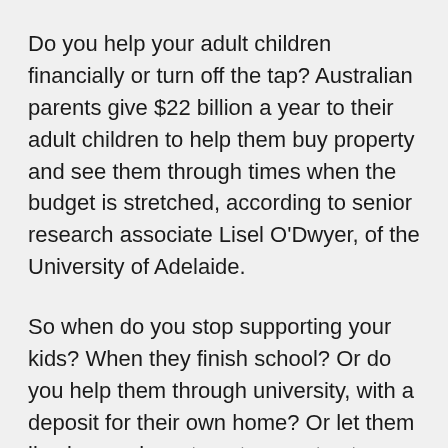Do you help your adult children financially or turn off the tap? Australian parents give $22 billion a year to their adult children to help them buy property and see them through times when the budget is stretched, according to senior research associate Lisel O'Dwyer, of the University of Adelaide.
So when do you stop supporting your kids? When they finish school? Or do you help them through university, with a deposit for their own home? Or let them live in your investment property at reduced rent?
Parents typically fall into two camps: those who support their kids beyond school into